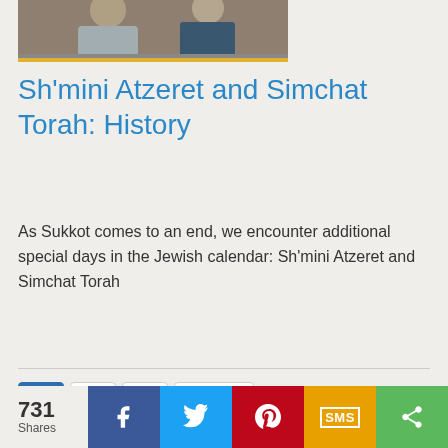[Figure (photo): Partial photo of people, cropped at top, with gold/yellow border at bottom]
Sh'mini Atzeret and Simchat Torah: History
As Sukkot comes to an end, we encounter additional special days in the Jewish calendar: Sh'mini Atzeret and Simchat Torah
1
2
›
Last »
731 Shares